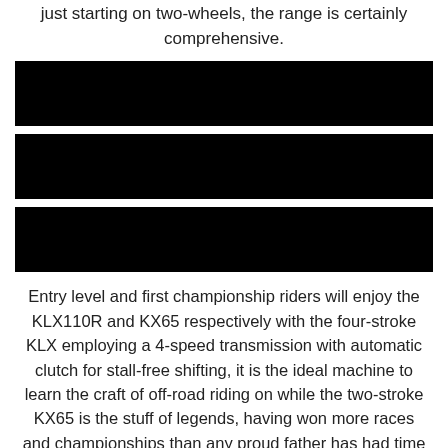just starting on two-wheels, the range is certainly comprehensive.
[Figure (other): Black redacted bar 1]
[Figure (other): Black redacted bar 2]
[Figure (other): Black redacted bar 3]
Entry level and first championship riders will enjoy the KLX110R and KX65 respectively with the four-stroke KLX employing a 4-speed transmission with automatic clutch for stall-free shifting, it is the ideal machine to learn the craft of off-road riding on while the two-stroke KX65 is the stuff of legends, having won more races and championships than any proud father has had time to put up trophy shelves.
Further up the capacity scale – and sticking with the